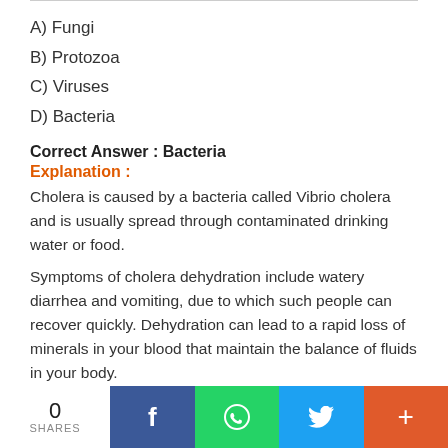A) Fungi
B) Protozoa
C) Viruses
D) Bacteria
Correct Answer : Bacteria
Explanation :
Cholera is caused by a bacteria called Vibrio cholera and is usually spread through contaminated drinking water or food.
Symptoms of cholera dehydration include watery diarrhea and vomiting, due to which such people can recover quickly. Dehydration can lead to a rapid loss of minerals in your blood that maintain the balance of fluids in your body.
Post/View Answer
0
SHARES